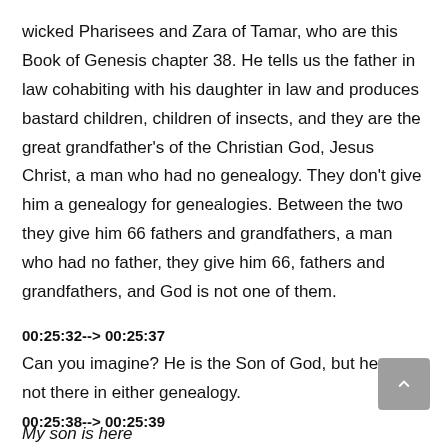wicked Pharisees and Zara of Tamar, who are this Book of Genesis chapter 38. He tells us the father in law cohabiting with his daughter in law and produces bastard children, children of insects, and they are the great grandfather's of the Christian God, Jesus Christ, a man who had no genealogy. They don't give him a genealogy for genealogies. Between the two they give him 66 fathers and grandfathers, a man who had no father, they give him 66, fathers and grandfathers, and God is not one of them.
00:25:32--> 00:25:37
Can you imagine? He is the Son of God, but he was not there in either genealogy.
00:25:38--> 00:25:39
My son is here